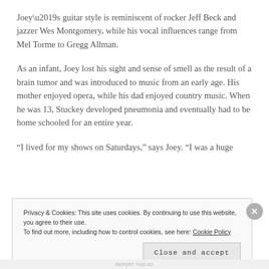Joey’s guitar style is reminiscent of rocker Jeff Beck and jazzer Wes Montgomery, while his vocal influences range from Mel Torme to Gregg Allman.
As an infant, Joey lost his sight and sense of smell as the result of a brain tumor and was introduced to music from an early age. His mother enjoyed opera, while his dad enjoyed country music. When he was 13, Stuckey developed pneumonia and eventually had to be home schooled for an entire year.
“I lived for my shows on Saturdays,” says Joey. “I was a huge
Privacy & Cookies: This site uses cookies. By continuing to use this website, you agree to their use.
To find out more, including how to control cookies, see here: Cookie Policy
Close and accept
REPORT THIS AD